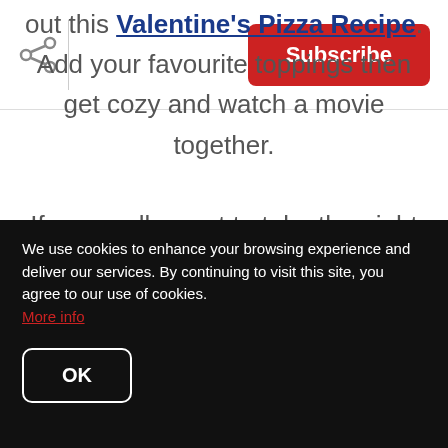Subscribe
out this Valentine's Pizza Recipe. Add your favourite toppings then get cozy and watch a movie together.

If you really want to take the night off there's always Skip the Dishes!
We use cookies to enhance your browsing experience and deliver our services. By continuing to visit this site, you agree to our use of cookies. More info
OK